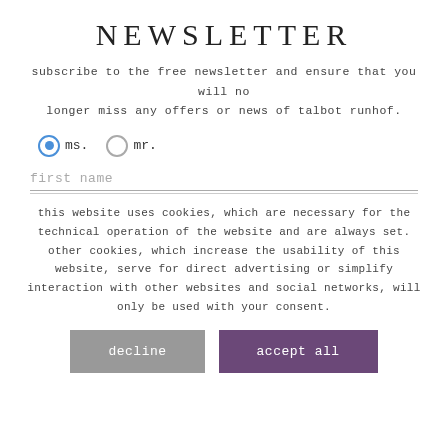NEWSLETTER
subscribe to the free newsletter and ensure that you will no longer miss any offers or news of talbot runhof.
ms.  mr.
first name
this website uses cookies, which are necessary for the technical operation of the website and are always set. other cookies, which increase the usability of this website, serve for direct advertising or simplify interaction with other websites and social networks, will only be used with your consent.
decline   accept all